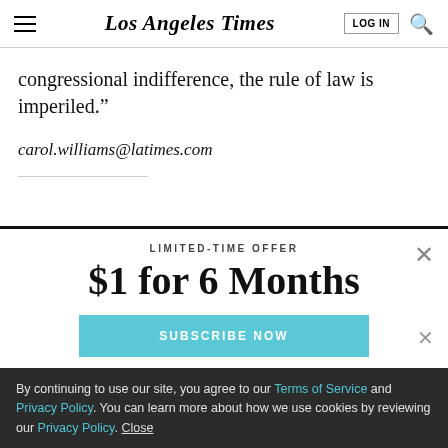Los Angeles Times | LOG IN | Search
congressional indifference, the rule of law is imperiled.”
carol.williams@latimes.com
LIMITED-TIME OFFER
$1 for 6 Months
SUBSCRIBE NOW
By continuing to use our site, you agree to our Terms of Service and Privacy Policy. You can learn more about how we use cookies by reviewing our Privacy Policy. Close